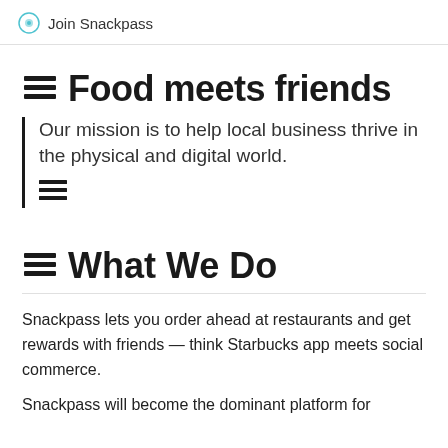Join Snackpass
Food meets friends
Our mission is to help local business thrive in the physical and digital world.
What We Do
Snackpass lets you order ahead at restaurants and get rewards with friends — think Starbucks app meets social commerce.
Snackpass will become the dominant platform for